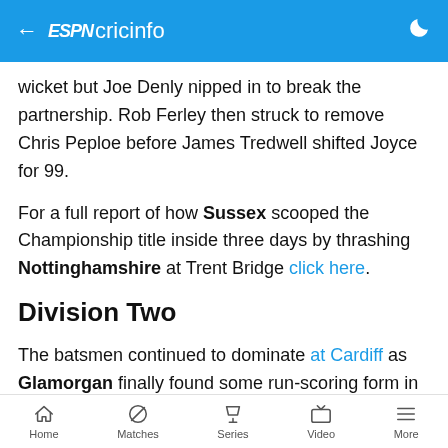ESPN cricinfo
wicket but Joe Denly nipped in to break the partnership. Rob Ferley then struck to remove Chris Peploe before James Tredwell shifted Joyce for 99.
For a full report of how Sussex scooped the Championship title inside three days by thrashing Nottinghamshire at Trent Bridge click here.
Division Two
The batsmen continued to dominate at Cardiff as Glamorgan finally found some run-scoring form in the closing stages of the season against Gloucestershire. Daniel Cherry completed his first century of the
Home  Matches  Series  Video  More